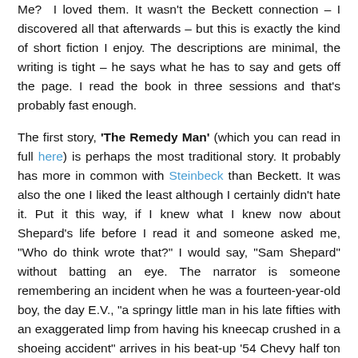Me? I loved them. It wasn't the Beckett connection – I discovered all that afterwards – but this is exactly the kind of short fiction I enjoy. The descriptions are minimal, the writing is tight – he says what he has to say and gets off the page. I read the book in three sessions and that's probably fast enough.
The first story, 'The Remedy Man' (which you can read in full here) is perhaps the most traditional story. It probably has more in common with Steinbeck than Beckett. It was also the one I liked the least although I certainly didn't hate it. Put it this way, if I knew what I knew now about Shepard's life before I read it and someone asked me, "Who do think wrote that?" I would say, "Sam Shepard" without batting an eye. The narrator is someone remembering an incident when he was a fourteen-year-old boy, the day E.V., "a springy little man in his late fifties with an exaggerated limp from having his kneecap crushed in a shoeing accident" arrives in his beat-up '54 Chevy half ton to help tame a horse:
[H]e was not a horse whisperer by any stretch. He was a remedy man. He could fix bad horses and when he fixed them they stayed fixed. That's